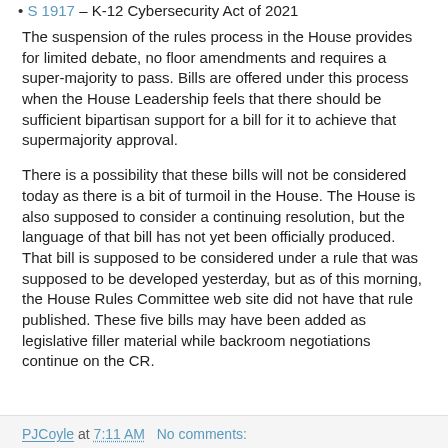S 1917 – K-12 Cybersecurity Act of 2021
The suspension of the rules process in the House provides for limited debate, no floor amendments and requires a super-majority to pass. Bills are offered under this process when the House Leadership feels that there should be sufficient bipartisan support for a bill for it to achieve that supermajority approval.
There is a possibility that these bills will not be considered today as there is a bit of turmoil in the House. The House is also supposed to consider a continuing resolution, but the language of that bill has not yet been officially produced. That bill is supposed to be considered under a rule that was supposed to be developed yesterday, but as of this morning, the House Rules Committee web site did not have that rule published. These five bills may have been added as legislative filler material while backroom negotiations continue on the CR.
PJCoyle at 7:11 AM   No comments: